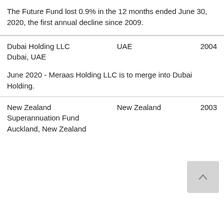The Future Fund lost 0.9% in the 12 months ended June 30, 2020, the first annual decline since 2009.
| Name / Location | Country | Founded |
| --- | --- | --- |
| Dubai Holding LLC
Dubai, UAE | UAE | 2004 |
| June 2020 - Meraas Holding LLC is to merge into Dubai Holding. |  |  |
| New Zealand Superannuation Fund
Auckland, New Zealand | New Zealand | 2003 |